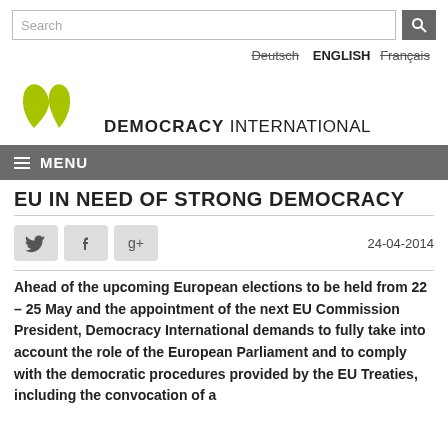Search
Deutsch ENGLISH Français
[Figure (logo): Democracy International logo with two green leaves and text DEMOCRACY INTERNATIONAL]
≡ MENU
EU IN NEED OF STRONG DEMOCRACY
24-04-2014
Ahead of the upcoming European elections to be held from 22 – 25 May and the appointment of the next EU Commission President, Democracy International demands to fully take into account the role of the European Parliament and to comply with the democratic procedures provided by the EU Treaties, including the convocation of a